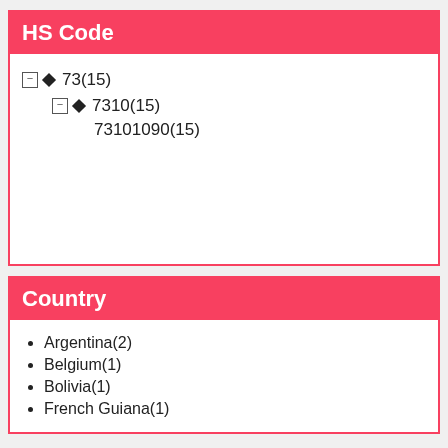HS Code
73(15)
7310(15)
73101090(15)
Country
Argentina(2)
Belgium(1)
Bolivia(1)
French Guiana(1)